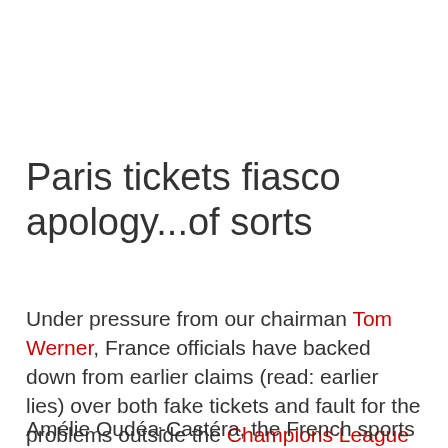Paris tickets fiasco apology...of sorts
Under pressure from our chairman Tom Werner, France officials have backed down from earlier claims (read: earlier lies) over both fake tickets and fault for the problems outside the Champions League final in Paris.
Amélie Oudéa-Castéra, the French sports...